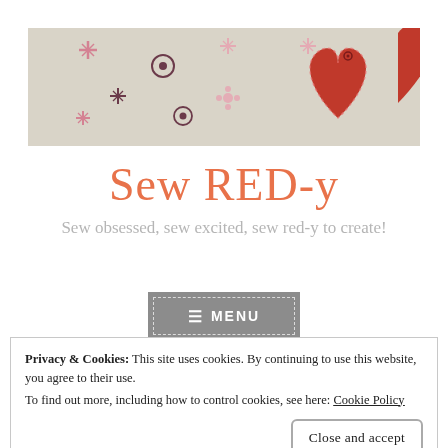[Figure (photo): Close-up photo of floral patterned fabric in beige/grey with pink and dark red flower motifs, with a red felt heart shape appliqué on the right side with visible stitching.]
Sew RED-y
Sew obsessed, sew excited, sew red-y to create!
≡ MENU
Privacy & Cookies: This site uses cookies. By continuing to use this website, you agree to their use.
To find out more, including how to control cookies, see here: Cookie Policy
Close and accept